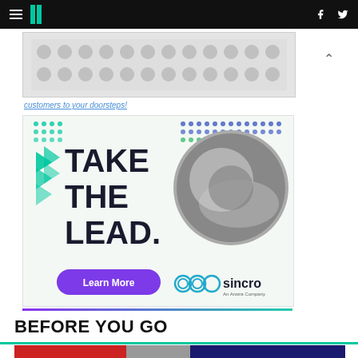HuffPost navigation header with hamburger menu, logo, Facebook and Twitter icons
[Figure (illustration): Gray dotted/circular pattern advertisement placeholder banner]
customers to your doorsteps!
[Figure (illustration): Sincro advertisement: TAKE THE LEAD. with car steering wheel image, Learn More button, and Sincro An Ansira Company logo]
BEFORE YOU GO